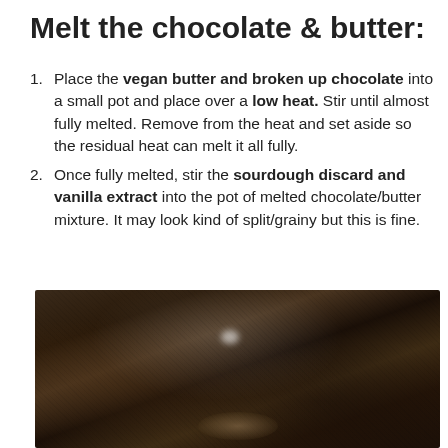Melt the chocolate & butter:
Place the vegan butter and broken up chocolate into a small pot and place over a low heat. Stir until almost fully melted. Remove from the heat and set aside so the residual heat can melt it all fully.
Once fully melted, stir the sourdough discard and vanilla extract into the pot of melted chocolate/butter mixture. It may look kind of split/grainy but this is fine.
[Figure (photo): Close-up photo of dark melted chocolate in a pot, with a spoon visible at the bottom, showing the glossy and grainy texture of the mixture.]